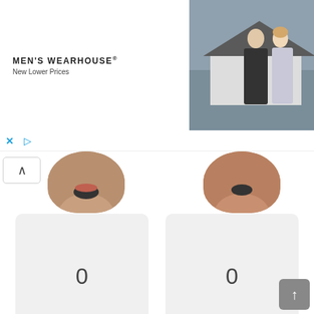[Figure (screenshot): Men's Wearhouse advertisement banner with product image of Joseph Abboud suit at $229.99 and a photo of a couple in formal wear]
X ▷
[Figure (photo): Two face images visible from below, with an up-arrow button]
0
0
THOKKALO DHI
OHO ALAGA!